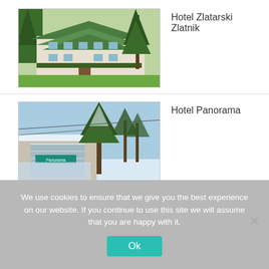[Figure (photo): Hotel Zlatarski Zlatnik exterior photo showing a large multi-story building with green roof surrounded by tall pine trees in summer]
Hotel Zlatarski Zlatnik
[Figure (photo): Hotel Panorama exterior photo showing a hotel building with snow-covered pine trees in winter, a sign reading Panorama is visible]
Hotel Panorama
We use cookies to ensure that we give you the best experience on our website. If you continue to use this site we will assume that you are happy with it.